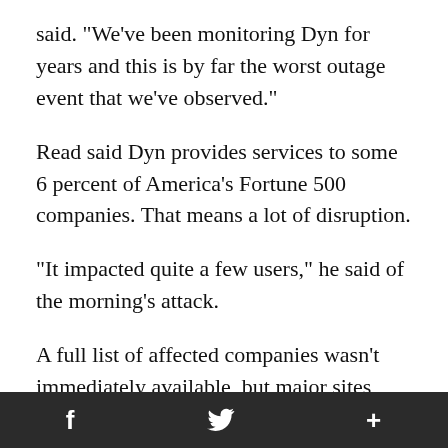said. "We've been monitoring Dyn for years and this is by far the worst outage event that we've observed."
Read said Dyn provides services to some 6 percent of America's Fortune 500 companies. That means a lot of disruption.
"It impacted quite a few users," he said of the morning's attack.
A full list of affected companies wasn't immediately available, but major sites including Twitter and coder hangout Github
f   🐦   +